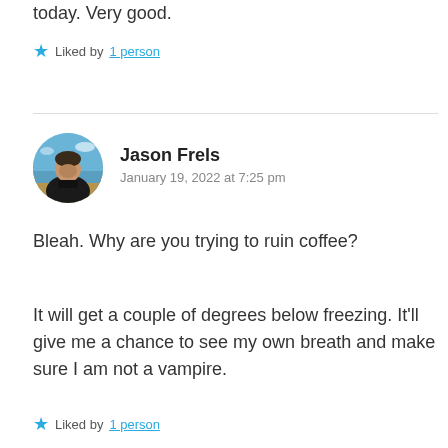today. Very good.
★ Liked by 1 person
[Figure (photo): Circular avatar photo of Jason Frels, a man outdoors near a beach or ocean, wearing a dark jacket, with blue sky behind him.]
Jason Frels
January 19, 2022 at 7:25 pm
Bleah. Why are you trying to ruin coffee?
It will get a couple of degrees below freezing. It'll give me a chance to see my own breath and make sure I am not a vampire.
★ Liked by 1 person